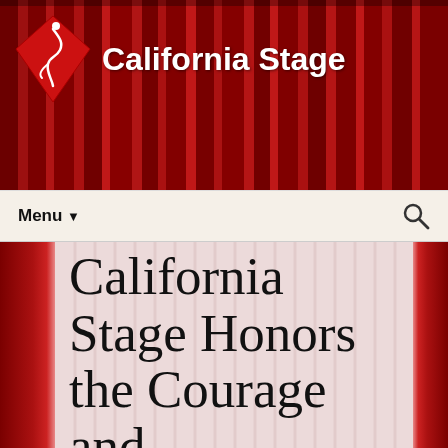[Figure (screenshot): Red theater curtain background header banner for California Stage website]
California Stage
Menu
California Stage Honors the Courage and Compassion of